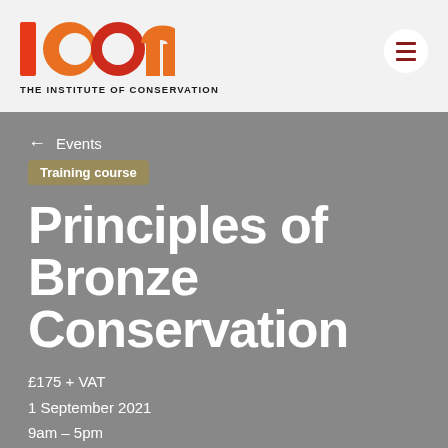[Figure (logo): ICON - The Institute of Conservation logo with red and orange circular letterforms and hamburger menu button]
← Events
Training course
Principles of Bronze Conservation
£175 + VAT
1 September 2021
9am – 5pm
Online